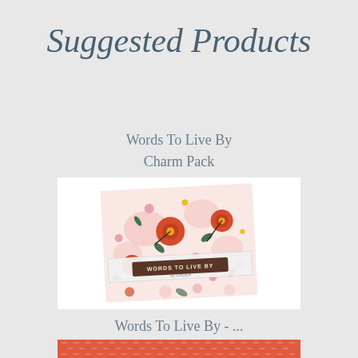Suggested Products
Words To Live By
Charm Pack
[Figure (photo): Product image of 'Words To Live By' Charm Pack fabric bundle with floral pattern in pink, red, and green on white background with label reading WORDS TO LIVE BY]
Words To Live By - ...
[Figure (photo): Partial product image showing coral/orange colored fabric with small white dash texture pattern]